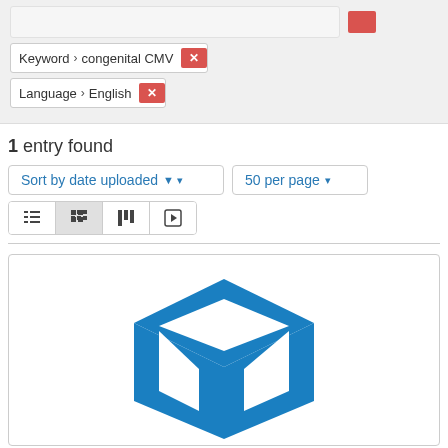Keyword › congenital CMV [remove]
Language › English [remove]
1 entry found
Sort by date uploaded ▼ ▾
50 per page ▾
[Figure (screenshot): View toggle buttons: list view, grid view (active), masonry view, slideshow view]
[Figure (logo): Blue open box / cube icon representing a digital repository item placeholder]